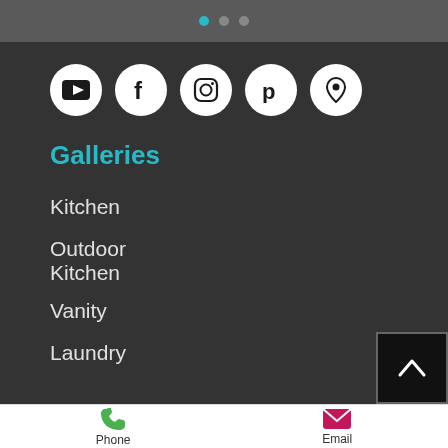[Figure (screenshot): Navigation dots: one teal active dot and two grey inactive dots]
[Figure (infographic): Row of five social media icon circles: YouTube, Facebook, Instagram, Pinterest, Location/Maps]
Galleries
Kitchen
Outdoor Kitchen
Vanity
Laundry
[Figure (other): Scroll-to-top button with upward chevron arrow]
[Figure (infographic): Bottom navigation bar with Phone (green phone icon) and Email (pink envelope icon) buttons]